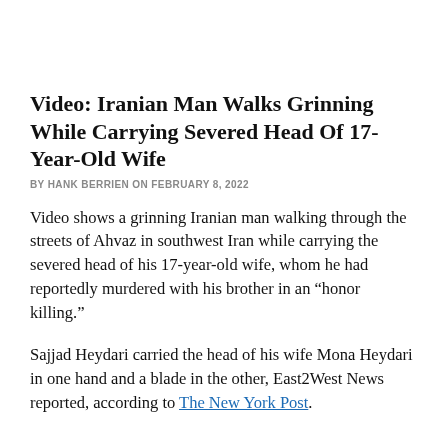Video: Iranian Man Walks Grinning While Carrying Severed Head Of 17-Year-Old Wife
BY HANK BERRIEN ON FEBRUARY 8, 2022
Video shows a grinning Iranian man walking through the streets of Ahvaz in southwest Iran while carrying the severed head of his 17-year-old wife, whom he had reportedly murdered with his brother in an “honor killing.”
Sajjad Heydari carried the head of his wife Mona Heydari in one hand and a blade in the other, East2West News reported, according to The New York Post.